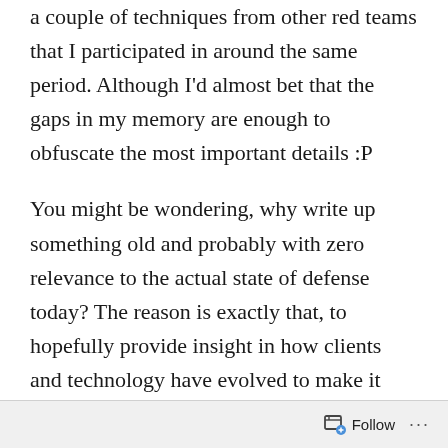a couple of techniques from other red teams that I participated in around the same period. Although I'd almost bet that the gaps in my memory are enough to obfuscate the most important details :P
You might be wondering, why write up something old and probably with zero relevance to the actual state of defense today? The reason is exactly that, to hopefully provide insight in how clients and technology have evolved to make it more difficult for adversaries not only to get in, but to remain undetected. In addition I hope that the mistakes that we made back then enable other
Follow ···